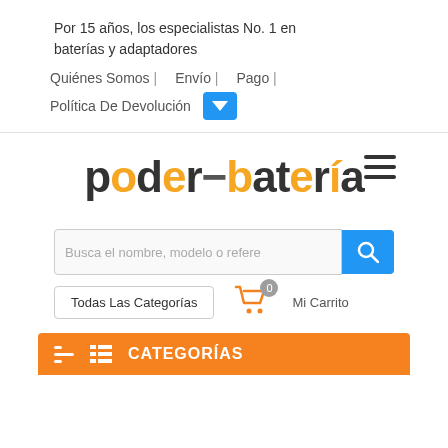Por 15 años, los especialistas No. 1 en baterías y adaptadores
Quiénes Somos | Envío | Pago | Política De Devolución
[Figure (logo): poder-bateria logo in dark gray and orange text with hamburger menu icon]
[Figure (screenshot): Search bar with placeholder 'Busca el nombre, modelo o refere' and blue search button]
[Figure (infographic): Todas Las Categorías button, shopping cart icon with badge '0' and 'Mi Carrito' label]
CATEGORÍAS